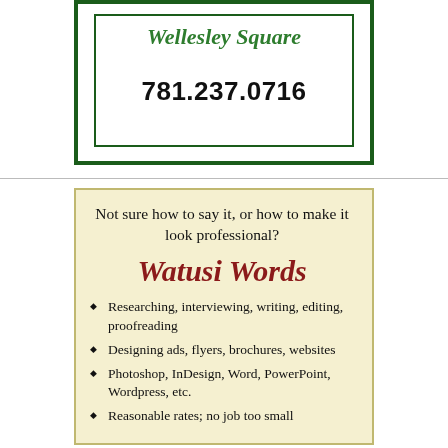Wellesley Square
781.237.0716
Not sure how to say it, or how to make it look professional?
Watusi Words
Researching, interviewing, writing, editing, proofreading
Designing ads, flyers, brochures, websites
Photoshop, InDesign, Word, PowerPoint, Wordpress, etc.
Reasonable rates; no job too small